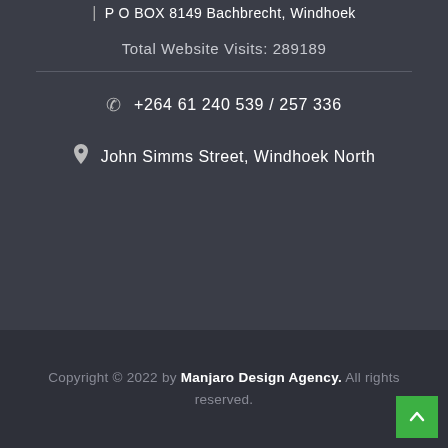| P O BOX 8149 Bachbrecht, Windhoek
Total Website Visits: 289189
+264 61 240 539 / 257 336
John Simms Street, Windhoek North
Copyright © 2022 by Manjaro Design Agency. All rights reserved.